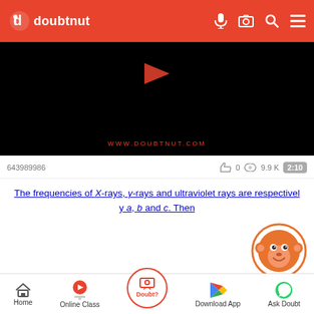doubtnut
[Figure (screenshot): Black video thumbnail with www.doubtnut.com watermark in orange/red text]
643989986   👍 0   👁 9.9 K   2:10
The frequencies of X-rays, γ-rays and ultraviolet rays are respectively a, b and c. Then
[Figure (illustration): Orange cartoon monkey mascot logo]
11971239   0   4.4 K   1:40
Home   Online Class   Doubt?   Download App   Ask Doubt